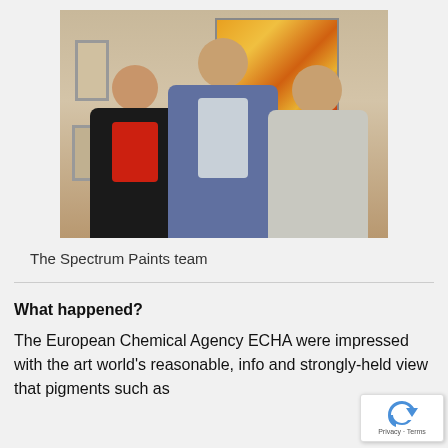[Figure (photo): Three people posing together indoors in front of a wall with artwork. Left: woman in dark jacket with red top. Center: tall man in blue jacket with glasses. Right: woman in light grey top with long hair.]
The Spectrum Paints team
What happened?
The European Chemical Agency ECHA were impressed with the art world's reasonable, info and strongly-held view that pigments such as